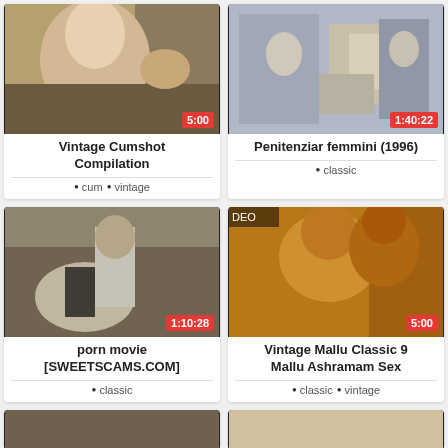[Figure (photo): Thumbnail of vintage adult video showing blonde woman, duration 5:00]
Vintage Cumshot Compilation
cum
vintage
[Figure (photo): Thumbnail of classic film scene with people in a room, duration 1:40:22]
Penitenziar femmini (1996)
classic
[Figure (photo): Thumbnail of vintage adult film with couple on hay, duration 1:10:28]
porn movie [SWEETSCAMS.COM]
classic
[Figure (photo): Thumbnail of Vintage Mallu Classic video with couple embracing, duration 5:00]
Vintage Mallu Classic 9 Mallu Ashramam Sex
classic
vintage
[Figure (photo): Partial thumbnail at bottom left, cut off]
[Figure (photo): Partial thumbnail at bottom right, cut off]